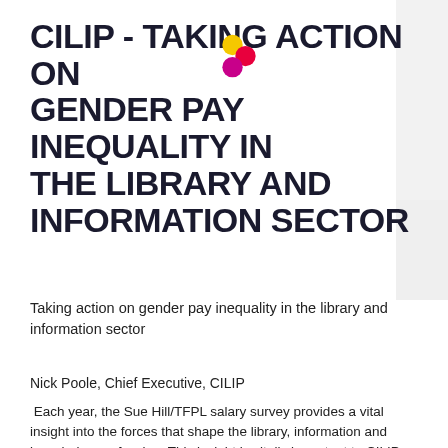CILIP - TAKING ACTION ON GENDER PAY INEQUALITY IN THE LIBRARY AND INFORMATION SECTOR
Taking action on gender pay inequality in the library and information sector
Nick Poole, Chief Executive, CILIP
Each year, the Sue Hill/TFPL salary survey provides a vital insight into the forces that shape the library, information and knowledge profession. This insight is vitally important to CILIP as we work with employers, practitioners and learning providers in more than 20 industry sectors to develop our overall workforce strategy